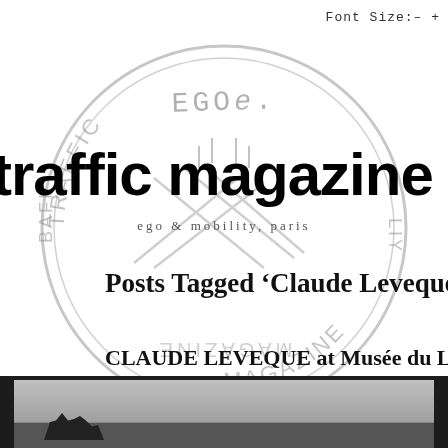Font Size:– +
[Figure (illustration): Circular postmark/stamp watermark overlaying the page header area, with text 'EGO&.' at top and 'TRAFFIC MAGAZINE' around the circle, with diagonal line pattern in center. Rendered in grey, semi-transparent.]
traffic magazine
ego & mobility, paris
Posts Tagged 'Claude Leveque'
CLAUDE LEVEQUE at Musée du Louvre
Thursday, April 3rd, 2014
[Figure (photo): Black and white photograph showing a dark structure silhouetted against a grey sky, bottom portion visible at page bottom.]